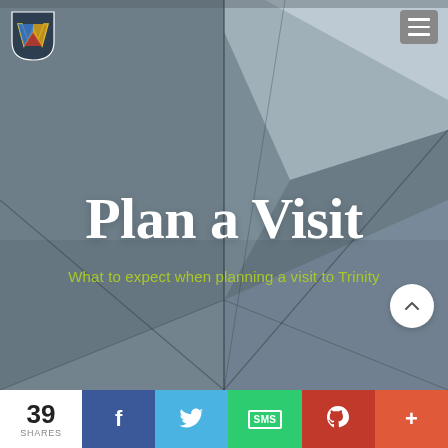[Figure (photo): Hero background showing geometric slate/concrete panels with angular lines meeting at a central vanishing point, dark blue-grey tones. Navigation bar overlaid with a shield logo on the left and a hamburger menu icon on the right.]
Plan a Visit
What to expect when planning a visit to Trinity
[Figure (infographic): Social sharing bar at the bottom showing 39 SHARES, with buttons for Facebook, Twitter, SMS, Pinterest, and a More (+) button.]